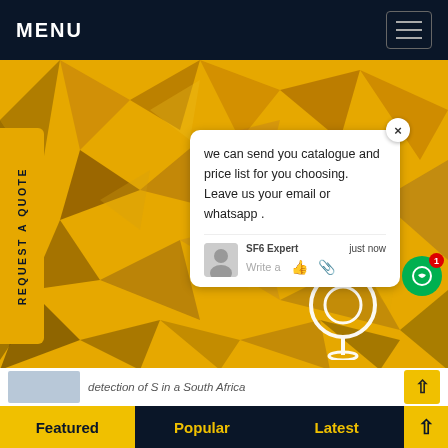MENU
[Figure (screenshot): Website hero section with yellow/gold geometric polygon background image resembling a world map in low-poly style]
REQUEST A QUOTE
we can send you catalogue and price list for you choosing.
Leave us your email or whatsapp .
SF6 Expert   just now
Write a
detection of S in a South Africa
Featured   Popular   Latest